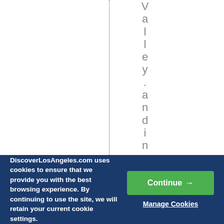Valley.and includ
DiscoverLosAngeles.com uses cookies to ensure that we provide you with the best browsing experience. By continuing to use the site, we will retain your current cookie settings.
Continue →
Manage Cookies